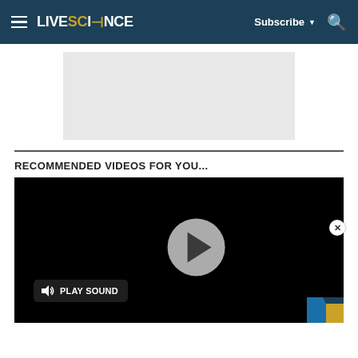LIVE SCIENCE — Subscribe | Search
[Figure (screenshot): Gray advertisement placeholder rectangle]
RECOMMENDED VIDEOS FOR YOU...
[Figure (screenshot): Black video player with gray play button circle and PLAY SOUND button, with partial corner thumbnail in bottom-right]